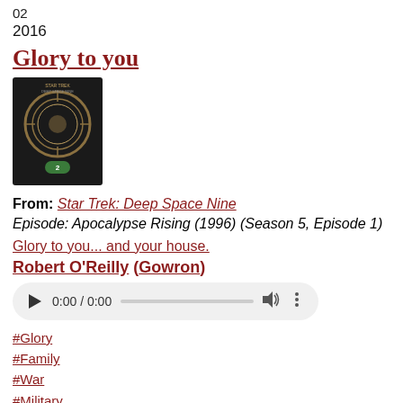02
2016
Glory to you
[Figure (photo): DVD box cover of Star Trek: Deep Space Nine Season 2]
From: Star Trek: Deep Space Nine
Episode: Apocalypse Rising (1996) (Season 5, Episode 1)
Glory to you... and your house.
Robert O'Reilly (Gowron)
[Figure (other): Audio player widget showing 0:00 / 0:00]
#Glory
#Family
#War
#Military
#Farewells